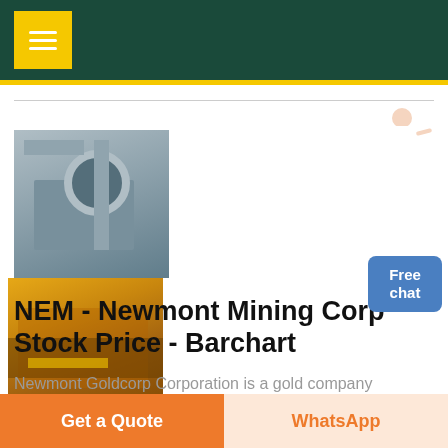[Figure (screenshot): Navigation header bar with dark green background and yellow menu button]
[Figure (photo): Three industrial mining/processing facility photos side by side: industrial fan/duct equipment, gold processing conveyor machinery, and mining excavator machine]
[Figure (other): Free chat button with person figure in top right]
NEM - Newmont Mining Corp Stock Price - Barchart
Newmont Goldcorp Corporation is a gold company and a producer of copper, silver, zinc
[Figure (other): Bottom button bar: 'Get a Quote' orange button and 'WhatsApp' light button]